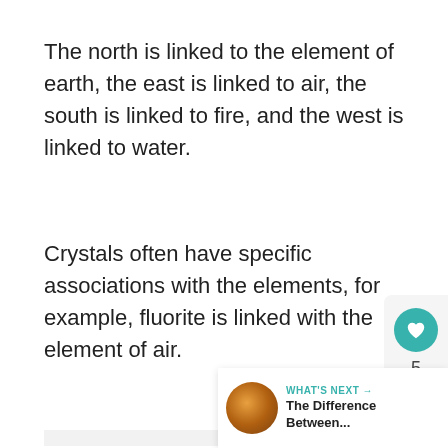The north is linked to the element of earth, the east is linked to air, the south is linked to fire, and the west is linked to water.
Crystals often have specific associations with the elements, for example, fluorite is linked with the element of air.
[Figure (screenshot): UI widget showing a teal heart/like button with count 5, a share button, and a 'What's Next' panel with thumbnail and text 'The Difference Between...']